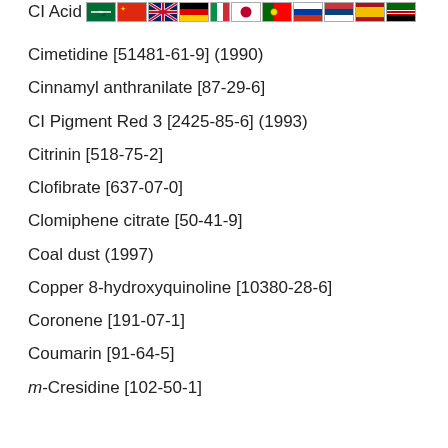CI Acid [flags]
Cimetidine [51481-61-9] (1990)
Cinnamyl anthranilate [87-29-6]
CI Pigment Red 3 [2425-85-6] (1993)
Citrinin [518-75-2]
Clofibrate [637-07-0]
Clomiphene citrate [50-41-9]
Coal dust (1997)
Copper 8-hydroxyquinoline [10380-28-6]
Coronene [191-07-1]
Coumarin [91-64-5]
m-Cresidine [102-50-1]